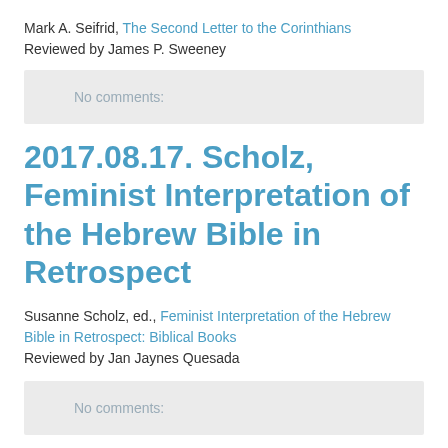Mark A. Seifrid, The Second Letter to the Corinthians
Reviewed by James P. Sweeney
No comments:
2017.08.17. Scholz, Feminist Interpretation of the Hebrew Bible in Retrospect
Susanne Scholz, ed., Feminist Interpretation of the Hebrew Bible in Retrospect: Biblical Books
Reviewed by Jan Jaynes Quesada
No comments:
2017.08.16. Pritula, The Wardā